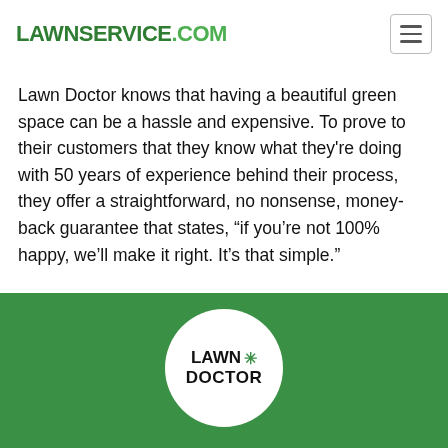LAWNSERVICE.COM
Lawn Doctor knows that having a beautiful green space can be a hassle and expensive. To prove to their customers that they know what they're doing with 50 years of experience behind their process, they offer a straightforward, no nonsense, money-back guarantee that states, “if you’re not 100% happy, we’ll make it right. It’s that simple.”
[Figure (logo): Lawn Doctor logo in white circle on green background]